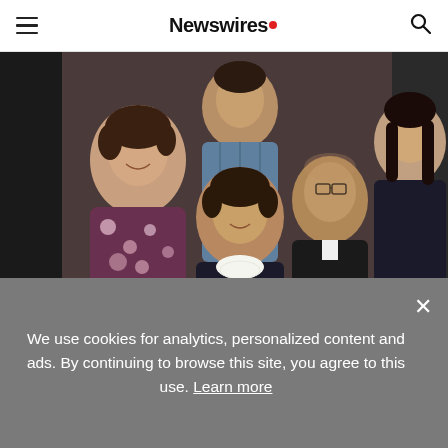Newswires
[Figure (photo): A family group photo showing Leonida Watson, her husband Sherman, and their children posing together indoors. Several people visible, wearing casual and semi-formal clothing.]
This is a photo of Leonida Watson, her husband Sherman together with their children.
We use cookies for analytics, personalized content and ads. By continuing to browse this site, you agree to this use. Learn more